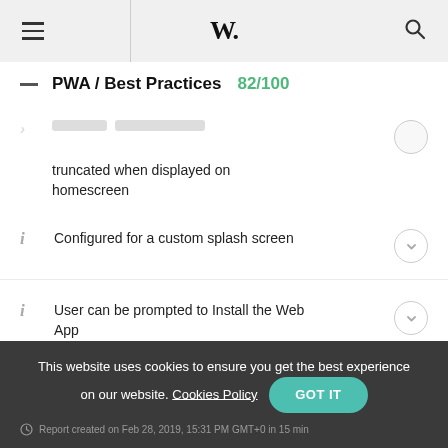W.
PWA / Best Practices 82/100
truncated when displayed on homescreen
Configured for a custom splash screen
User can be prompted to Install the Web App
This website uses cookies to ensure you get the best experience on our website. Cookies Policy GOT IT
Report created on Feb 28, 2019, 15:31 PM GMT+0 in 15 min